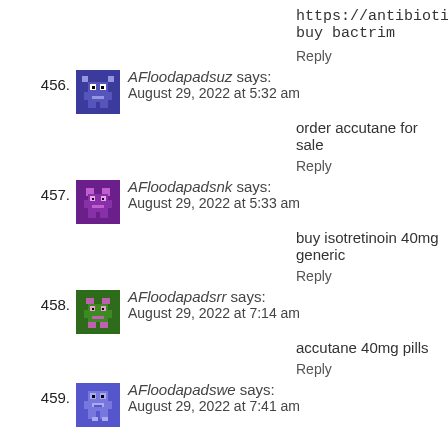https://antibiotic.icu/# buy bactrim
Reply
456. AFloodapadsuz says: August 29, 2022 at 5:32 am
order accutane for sale
Reply
457. AFloodapadsnk says: August 29, 2022 at 5:33 am
buy isotretinoin 40mg generic
Reply
458. AFloodapadsrr says: August 29, 2022 at 7:14 am
accutane 40mg pills
Reply
459. AFloodapadswe says: August 29, 2022 at 7:41 am